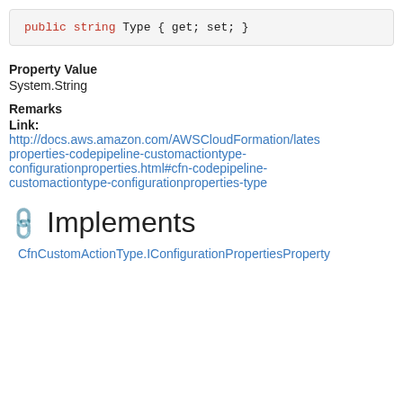Property Value
System.String
Remarks
Link: http://docs.aws.amazon.com/AWSCloudFormation/latest/properties-codepipeline-customactiontype-configurationproperties.html#cfn-codepipeline-customactiontype-configurationproperties-type
Implements
CfnCustomActionType.IConfigurationPropertiesProperty